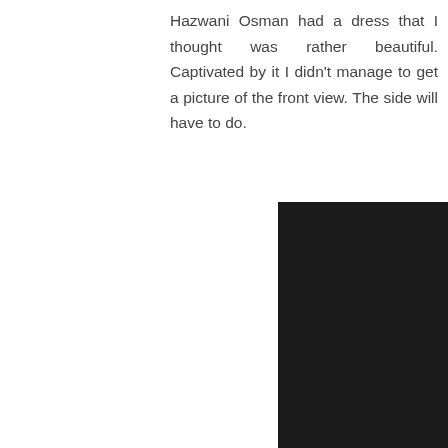Hazwani Osman had a dress that I thought was rather beautiful. Captivated by it I didn't manage to get a picture of the front view. The side will have to do.
[Figure (photo): A fashion model on a runway wearing a beautiful white/blush pink layered ball gown dress with floral embellishments and a veil. The model is photographed from the side. Audience members are visible in the background and foreground. A watermark reads 'chocolatecatsz.blogspot.com' at the bottom.]